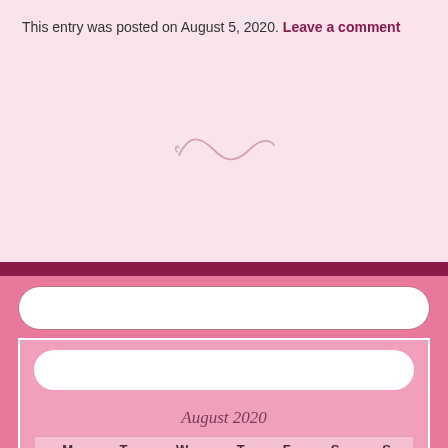This entry was posted on August 5, 2020.
Leave a comment
[Figure (illustration): Decorative swirl/divider ornament in light pink]
[Figure (other): Search bar (white rounded rectangle) in pink sidebar]
[Figure (other): Inner panel with second search bar]
August 2020
| M | T | W | T | F | S | S |
| --- | --- | --- | --- | --- | --- | --- |
|  |  |  |  |  | 1 | 2 |